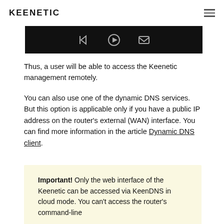KEENETIC
[Figure (screenshot): Dark screenshot strip showing media control icons (back, play/pause, envelope) on a black background]
Thus, a user will be able to access the Keenetic management remotely.
You can also use one of the dynamic DNS services. But this option is applicable only if you have a public IP address on the router's external (WAN) interface. You can find more information in the article Dynamic DNS client.
Important! Only the web interface of the Keenetic can be accessed via KeenDNS in cloud mode. You can't access the router's command-line